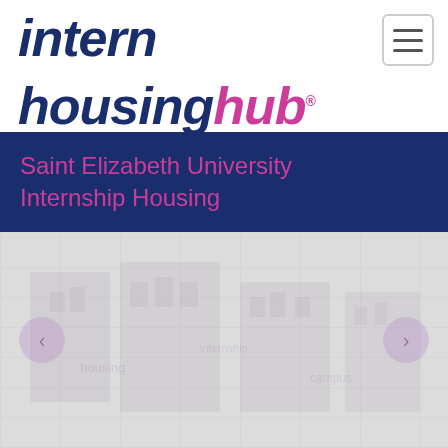[Figure (logo): Intern Housing Hub logo with 'intern housing' in dark navy bold italic and 'hub' in pink/magenta bold italic with registered trademark symbol]
Saint Elizabeth University Internship Housing
[Figure (photo): Faded/washed out photograph of a university building or campus housing, with left and right navigation arrows overlaid]